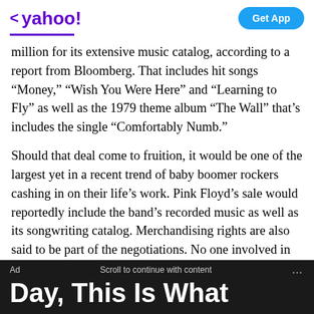< yahoo! | Get App
million for its extensive music catalog, according to a report from Bloomberg. That includes hit songs “Money,” “Wish You Were Here” and “Learning to Fly” as well as the 1979 theme album “The Wall” that’s includes the single “Comfortably Numb.”
Should that deal come to fruition, it would be one of the largest yet in a recent trend of baby boomer rockers cashing in on their life’s work. Pink Floyd’s sale would reportedly include the band’s recorded music as well as its songwriting catalog. Merchandising rights are also said to be part of the negotiations. No one involved in the alleged deal has commented on it.
Ad | Scroll to continue with content | ... | Day, This Is What